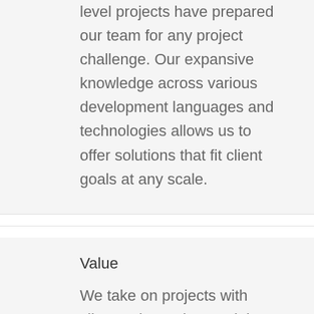level projects have prepared our team for any project challenge. Our expansive knowledge across various development languages and technologies allows us to offer solutions that fit client goals at any scale.
Value
We take on projects with clients who understand the value in a developer-client relationship.